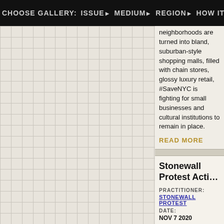CHOOSE GALLERY: ISSUE▶ MEDIUM▶ REGION▶ HOW IT WORKS▶
[Figure (other): Grid-paper background panel on the left side of the page]
neighborhoods are turned into bland, suburban-style shopping malls, filled with chain stores, glossy luxury retail, #SaveNYC is fighting for small businesses and cultural institutions to remain in place.
READ MORE
Stonewall Protest Acti…
PRACTITIONER:
STONEWALL PROTEST
DATE:
NOV 7 2020
This action took place on the Saturday after the 2020 US election when Joe Biden was named the president elect. As many were celebrating, th…